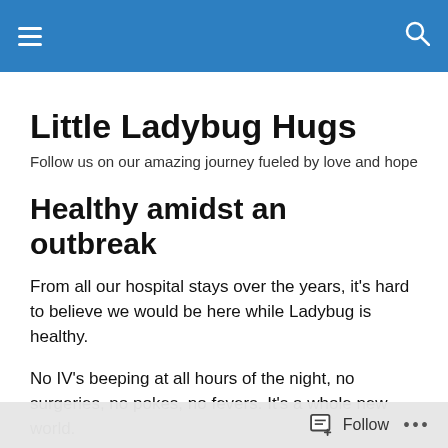Little Ladybug Hugs — site navigation header bar
Little Ladybug Hugs
Follow us on our amazing journey fueled by love and hope
Healthy amidst an outbreak
From all our hospital stays over the years, it's hard to believe we would be here while Ladybug is healthy.
No IV's beeping at all hours of the night, no surgeries, no pokes, no fevers. It's a whole new world.
I thought all of the above would make the stay easier but it
Follow